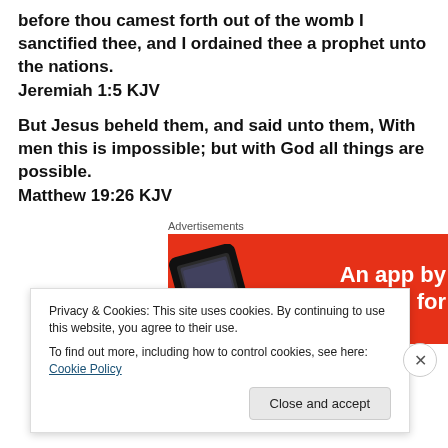before thou camest forth out of the womb I sanctified thee, and I ordained thee a prophet unto the nations.
Jeremiah 1:5 KJV
But Jesus beheld them, and said unto them, With men this is impossible; but with God all things are possible.
Matthew 19:26 KJV
[Figure (other): Red advertisement banner with phone image and text 'An app by listeners. for']
Privacy & Cookies: This site uses cookies. By continuing to use this website, you agree to their use.
To find out more, including how to control cookies, see here: Cookie Policy